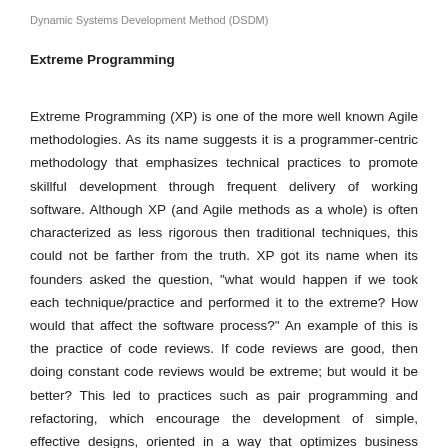Dynamic Systems Development Method (DSDM)
Extreme Programming
Extreme Programming (XP) is one of the more well known Agile methodologies. As its name suggests it is a programmer-centric methodology that emphasizes technical practices to promote skillful development through frequent delivery of working software. Although XP (and Agile methods as a whole) is often characterized as less rigorous then traditional techniques, this could not be farther from the truth. XP got its name when its founders asked the question, "what would happen if we took each technique/practice and performed it to the extreme? How would that affect the software process?" An example of this is the practice of code reviews. If code reviews are good, then doing constant code reviews would be extreme; but would it be better? This led to practices such as pair programming and refactoring, which encourage the development of simple, effective designs, oriented in a way that optimizes business value. In truth, full